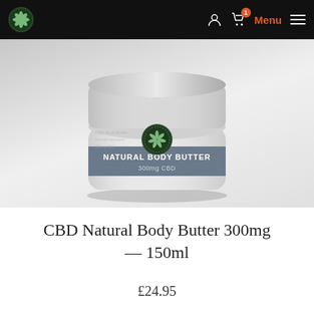CBD Natural Body Butter — Navigation bar with logo, account icon, cart (1), Menu
[Figure (photo): White cylindrical jar of CBD Natural Body Butter 300mg CBD, with a grey label band reading 'NATURAL BODY BUTTER 300mg CBD' and a green cannabis leaf logo medallion, on a light grey gradient background]
CBD Natural Body Butter 300mg — 150ml
£24.95